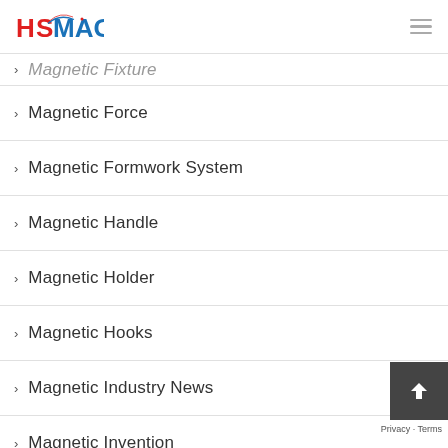HSMAG
Magnetic Fixture
Magnetic Force
Magnetic Formwork System
Magnetic Handle
Magnetic Holder
Magnetic Hooks
Magnetic Industry News
Magnetic Invention
Magnetic Jewelry